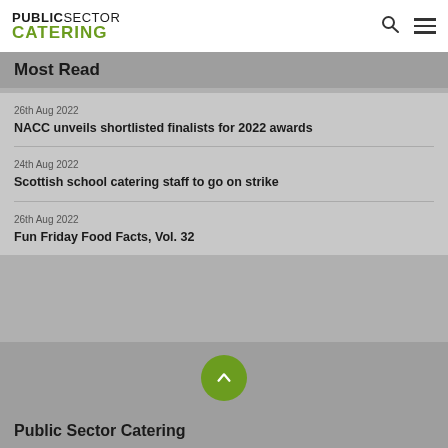PUBLIC SECTOR CATERING
Most read
26th Aug 2022
NACC unveils shortlisted finalists for 2022 awards
24th Aug 2022
Scottish school catering staff to go on strike
26th Aug 2022
Fun Friday Food Facts, Vol. 32
[Figure (other): Green circular scroll-to-top button with upward chevron arrow]
Public Sector Catering